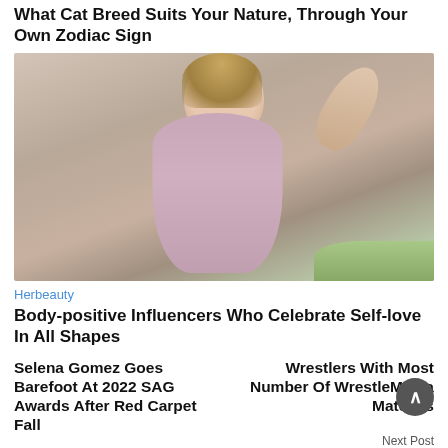What Cat Breed Suits Your Nature, Through Your Own Zodiac Sign
[Figure (photo): A plus-size woman with blonde highlighted hair wearing a pink/rose metallic sleeveless top, posing with one hand behind her head, wearing large earrings, against a light neutral background with some green grass/fur at the bottom right.]
Herbeauty
Body-positive Influencers Who Celebrate Self-love In All Shapes
Selena Gomez Goes Barefoot At 2022 SAG Awards After Red Carpet Fall
Wrestlers With Most Number Of WrestleMania Matches
Next Post